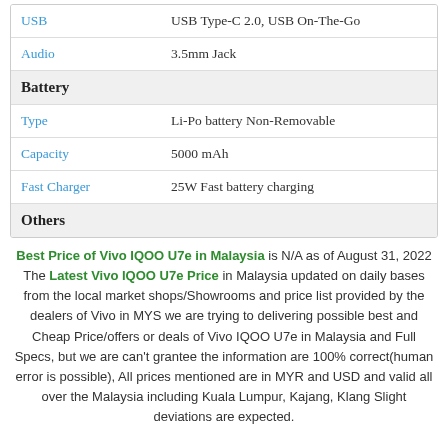| Attribute | Value |
| --- | --- |
| USB | USB Type-C 2.0, USB On-The-Go |
| Audio | 3.5mm Jack |
| Battery |  |
| Type | Li-Po battery Non-Removable |
| Capacity | 5000 mAh |
| Fast Charger | 25W Fast battery charging |
| Others |  |
Best Price of Vivo IQOO U7e in Malaysia is N/A as of August 31, 2022 The Latest Vivo IQOO U7e Price in Malaysia updated on daily bases from the local market shops/Showrooms and price list provided by the dealers of Vivo in MYS we are trying to delivering possible best and Cheap Price/offers or deals of Vivo IQOO U7e in Malaysia and Full Specs, but we are can't grantee the information are 100% correct(human error is possible), All prices mentioned are in MYR and USD and valid all over the Malaysia including Kuala Lumpur, Kajang, Klang Slight deviations are expected.